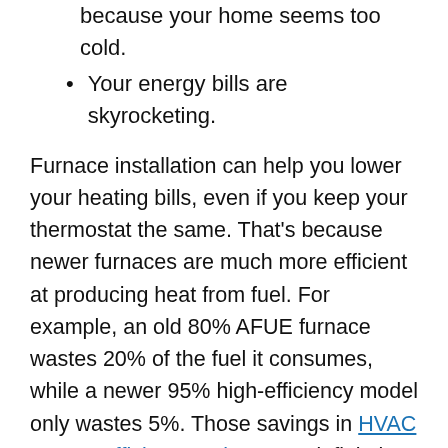because your home seems too cold.
Your energy bills are skyrocketing.
Furnace installation can help you lower your heating bills, even if you keep your thermostat the same. That's because newer furnaces are much more efficient at producing heat from fuel. For example, an old 80% AFUE furnace wastes 20% of the fuel it consumes, while a newer 95% high-efficiency model only wastes 5%. Those savings in HVAC energy-efficiency ratings can definitely add up over its lifetime!
4. Unusual Furnace Noises
It's normal for your furnace to produce some